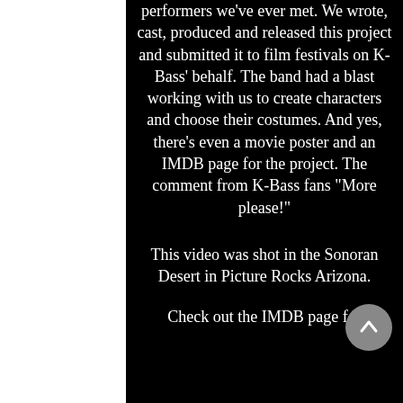performers we've ever met. We wrote, cast, produced and released this project and submitted it to film festivals on K-Bass' behalf. The band had a blast working with us to create characters and choose their costumes. And yes, there's even a movie poster and an IMDB page for the project. The comment from K-Bass fans "More please!"
This video was shot in the Sonoran Desert in Picture Rocks Arizona.
Check out the IMDB page for